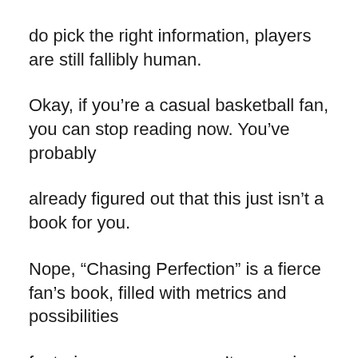do pick the right information, players are still fallibly human.
Okay, if you're a casual basketball fan, you can stop reading now. You've probably
already figured out that this just isn't a book for you.
Nope, “Chasing Perfection” is a fierce fan’s book, filled with metrics and possibilities
featuring names you won’t recognize, and some you will. That might include the name of